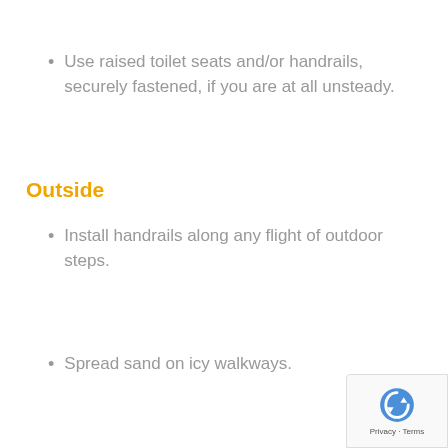Use raised toilet seats and/or handrails, securely fastened, if you are at all unsteady.
Outside
Install handrails along any flight of outdoor steps.
Spread sand on icy walkways.